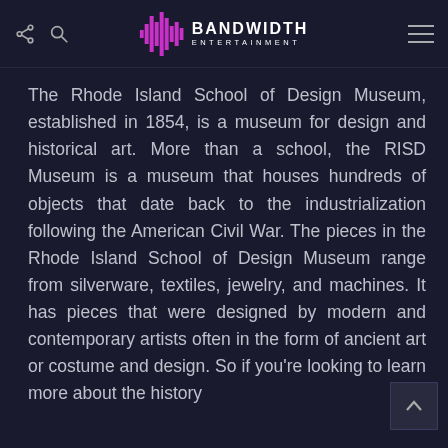Bandwidth Entertainment
The Rhode Island School of Design Museum, established in 1854, is a museum for design and historical art. More than a school, the RISD Museum is a museum that houses hundreds of objects that date back to the industrialization following the American Civil War. The pieces in the Rhode Island School of Design Museum range from silverware, textiles, jewelry, and machines. It has pieces that were designed by modern and contemporary artists often in the form of ancient art or costume and design. So if you're looking to learn more about the history